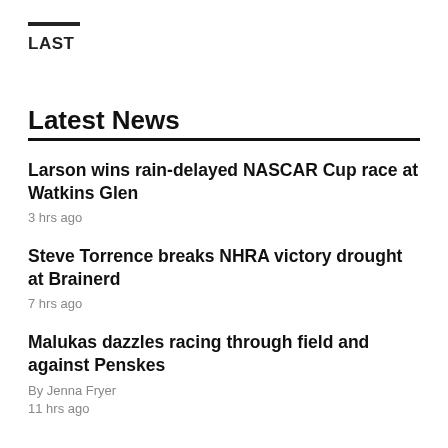LAST
Latest News
Larson wins rain-delayed NASCAR Cup race at Watkins Glen
3 hrs ago
Steve Torrence breaks NHRA victory drought at Brainerd
7 hrs ago
Malukas dazzles racing through field and against Penskes
By Jenna Fryer
11 hrs ago